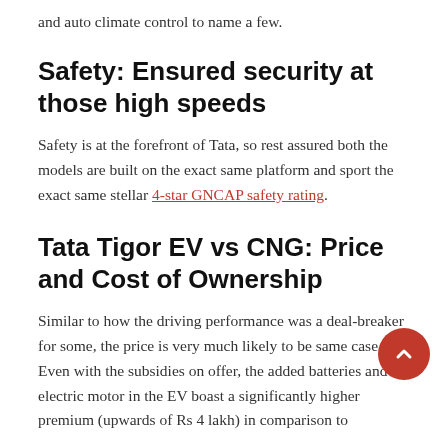and auto climate control to name a few.
Safety: Ensured security at those high speeds
Safety is at the forefront of Tata, so rest assured both the models are built on the exact same platform and sport the exact same stellar 4-star GNCAP safety rating.
Tata Tigor EV vs CNG: Price and Cost of Ownership
Similar to how the driving performance was a deal-breaker for some, the price is very much likely to be same case. Even with the subsidies on offer, the added batteries and electric motor in the EV boast a significantly higher premium (upwards of Rs 4 lakh) in comparison to